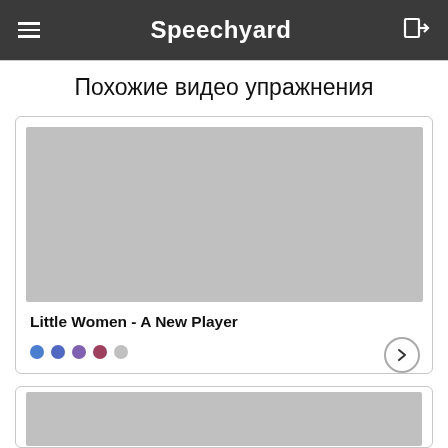Speechyard
Похожие видео упражнения
[Figure (screenshot): Card with video thumbnail placeholder (gray rectangle) for 'Little Women - A New Player' with colored dots and right arrow]
Little Women - A New Player
[Figure (screenshot): Second card with video thumbnail placeholder (gray rectangle), partially visible at bottom of page]